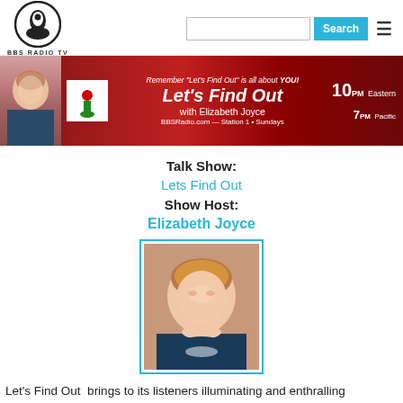BBS RADIO TV — Search bar and hamburger menu
[Figure (photo): Banner advertisement for 'Let's Find Out with Elizabeth Joyce' on BBSRadio.com Station 1, Sundays 10PM Eastern 7PM Pacific]
Talk Show:
Lets Find Out
Show Host:
Elizabeth Joyce
[Figure (photo): Portrait photo of Elizabeth Joyce, a woman with reddish-brown hair, smiling, with a teal border frame]
Let's Find Out  brings to its listeners illuminating and enthralling exploration of the connection between our minds and our bodies. This show brings a series of fascinating interviews with experts in the fields